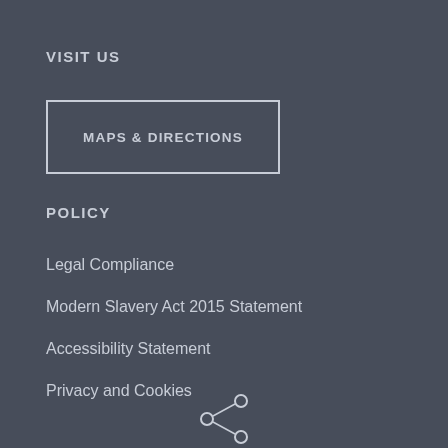VISIT US
MAPS & DIRECTIONS
POLICY
Legal Compliance
Modern Slavery Act 2015 Statement
Accessibility Statement
Privacy and Cookies
[Figure (logo): Small decorative icon/logo at bottom center]